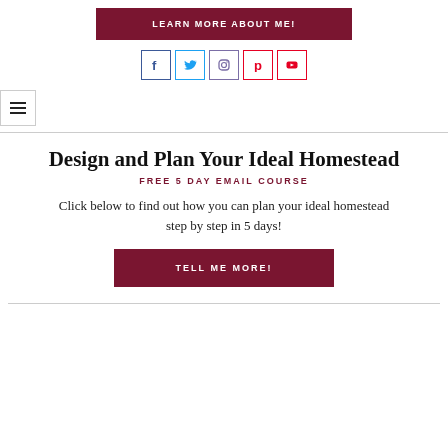[Figure (other): A dark red/maroon button labeled LEARN MORE ABOUT ME!]
[Figure (other): Social media icons: Facebook, Twitter, Instagram, Pinterest, YouTube — each in a square border with brand colors]
[Figure (other): Navigation bar with hamburger menu icon and horizontal rule]
Design and Plan Your Ideal Homestead
FREE 5 DAY EMAIL COURSE
Click below to find out how you can plan your ideal homestead step by step in 5 days!
[Figure (other): A dark red/maroon button labeled TELL ME MORE!]